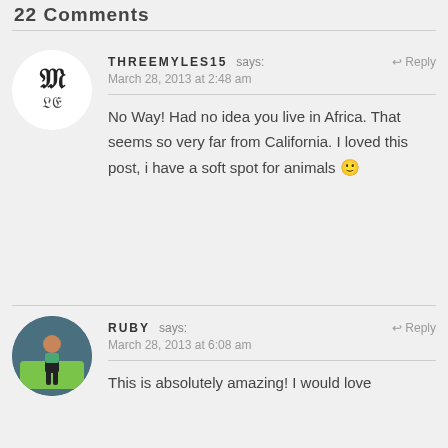22 Comments
THREEMYLES15 says:
March 28, 2013 at 2:48 am
No Way! Had no idea you live in Africa. That seems so very far from California. I loved this post, i have a soft spot for animals 🙂
RUBY says:
March 28, 2013 at 6:08 am
This is absolutely amazing! I would love